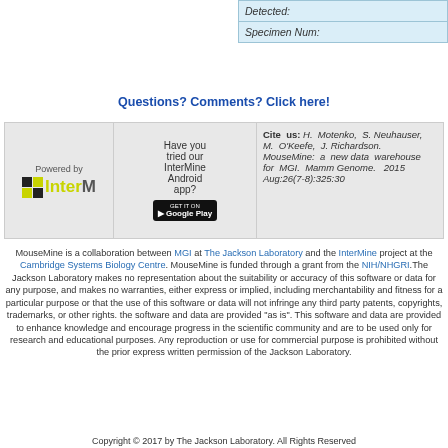| Detected: |  |
| Specimen Num: |  |
Questions? Comments? Click here!
[Figure (infographic): Banner with InterMine logo, Android app promotion, and citation reference for MouseMine.]
MouseMine is a collaboration between MGI at The Jackson Laboratory and the InterMine project at the Cambridge Systems Biology Centre. MouseMine is funded through a grant from the NIH/NHGRI.The Jackson Laboratory makes no representation about the suitability or accuracy of this software or data for any purpose, and makes no warranties, either express or implied, including merchantability and fitness for a particular purpose or that the use of this software or data will not infringe any third party patents, copyrights, trademarks, or other rights. the software and data are provided "as is". This software and data are provided to enhance knowledge and encourage progress in the scientific community and are to be used only for research and educational purposes. Any reproduction or use for commercial purpose is prohibited without the prior express written permission of the Jackson Laboratory.
Copyright © 2017 by The Jackson Laboratory. All Rights Reserved